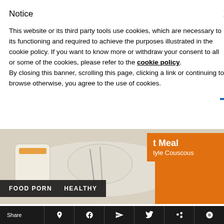Notice
This website or its third party tools use cookies, which are necessary to its functioning and required to achieve the purposes illustrated in the cookie policy. If you want to know more or withdraw your consent to all or some of the cookies, please refer to the cookie policy. By closing this banner, scrolling this page, clicking a link or continuing to browse otherwise, you agree to the use of cookies.
[Figure (photo): Close-up photo of Exante meal product containers, including an orange-labeled container showing 'Meal Style Couscous'. Black banner overlay at bottom shows 'FOOD PORN' and 'HEALTHY' tags.]
Exante Flexi Solution Plan | 28
Share | Pinterest | Facebook | Like | Twitter | WhatsApp | Bloglovin